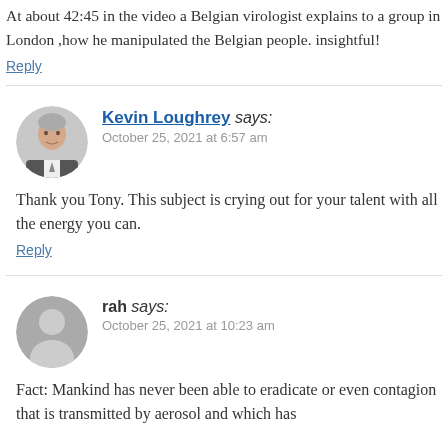At about 42:45 in the video a Belgian virologist explains to a group in London ,how he manipulated the Belgian people. Very insightful!
Reply
Kevin Loughrey says: October 25, 2021 at 6:57 am
Thank you Tony. This subject is crying out for your talent, pursue with all the energy you can.
Reply
rah says: October 25, 2021 at 10:23 am
Fact: Mankind has never been able to eradicate or even control a contagion that is transmitted by aerosol and which has